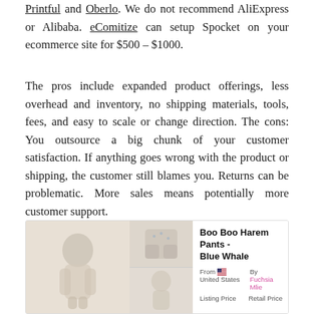and Oberlo. We do not recommend AliExpress or Alibaba. eComitize can setup Spocket on your ecommerce site for $500 – $1000.
The pros include expanded product offerings, less overhead and inventory, no shipping materials, tools, fees, and easy to scale or change direction. The cons: You outsource a big chunk of your customer satisfaction. If anything goes wrong with the product or shipping, the customer still blames you. Returns can be problematic. More sales means potentially more customer support.
[Figure (screenshot): Product card showing 'Boo Boo Harem Pants - Blue Whale'. Images of baby/toddler clothing on the left. Product info on the right including From United States, By Fuchsia Mlie, Listing Price and Retail Price labels.]